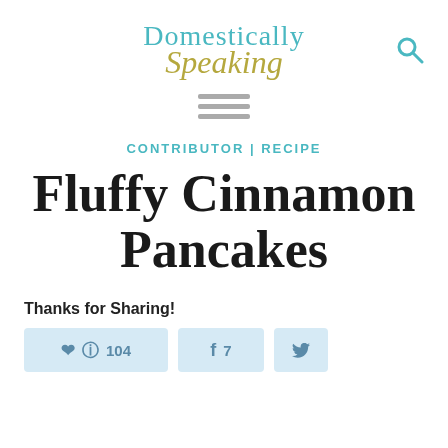[Figure (logo): Domestically Speaking blog logo with teal and olive/gold script text]
[Figure (other): Hamburger menu icon with three horizontal gray bars]
CONTRIBUTOR | RECIPE
Fluffy Cinnamon Pancakes
Thanks for Sharing!
[Figure (infographic): Social sharing buttons: Pinterest with 104, Facebook with 7, Twitter]